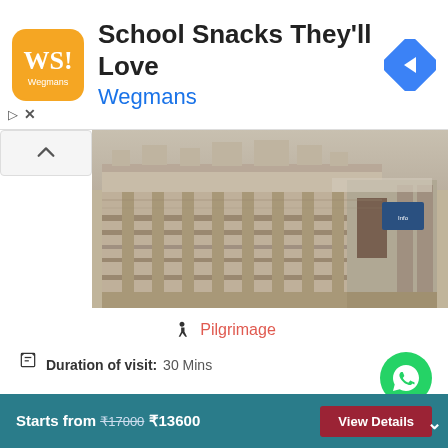[Figure (screenshot): Advertisement banner for Wegmans - School Snacks They'll Love]
[Figure (photo): Photograph of Panchasara Parshwanath Jain Derasar temple exterior showing ornate stone carved architecture]
Pilgrimage
Duration of visit: 30 Mins
Timings: 9.30 AM - 6.30 PM
Entry Fee: Free
At a distance of 2 km from Patan Railway Station, Panchasara Parshwanath Jain Derasar is a Jain Temple situated in Gungdi part of Patan city. It is one of the ancient Jain temples in Gujarat an
Starts from ₹17000 ₹13600  View Details